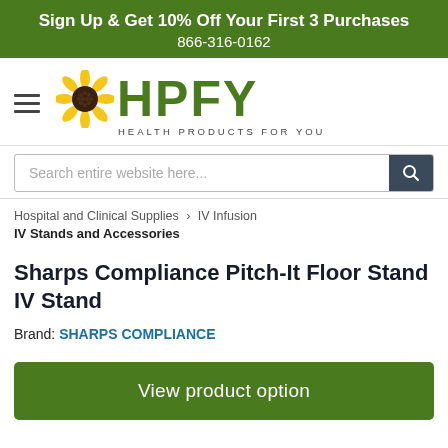Sign Up & Get 10% Off Your First 3 Purchases
866-316-0162
[Figure (logo): HPFY Health Products For You logo with sunflower icon]
Search entire website here...
Hospital and Clinical Supplies   IV Infusion
IV Stands and Accessories
Sharps Compliance Pitch-It Floor Stand IV Stand
Brand: SHARPS COMPLIANCE
View product option